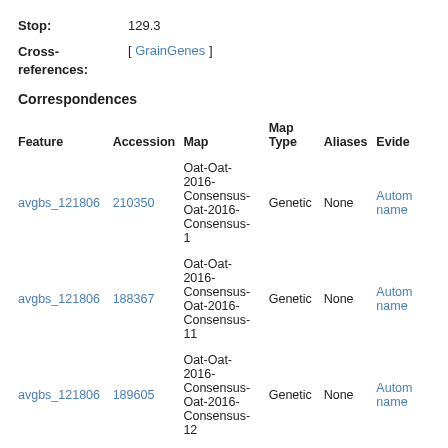Stop: 129.3
Cross-references: [ GrainGenes ]
Correspondences
| Feature | Accession | Map | Map Type | Aliases | Evide... |
| --- | --- | --- | --- | --- | --- |
| avgbs_121806 | 210350 | Oat-Oat-2016-Consensus-Oat-2016-Consensus-1 | Genetic | None | Autom name |
| avgbs_121806 | 188367 | Oat-Oat-2016-Consensus-Oat-2016-Consensus-11 | Genetic | None | Autom name |
| avgbs_121806 | 189605 | Oat-Oat-2016-Consensus-Oat-2016-Consensus-12 | Genetic | None | Autom name |